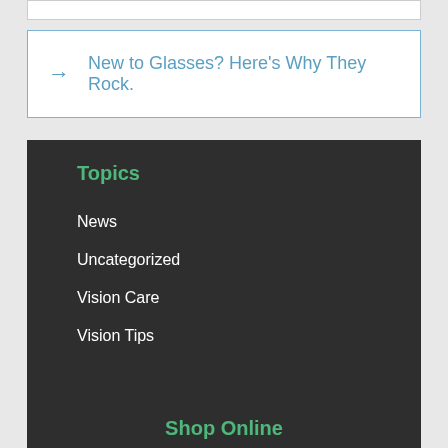→ New to Glasses? Here's Why They Rock.
Topics
News
Uncategorized
Vision Care
Vision Tips
Shop Online